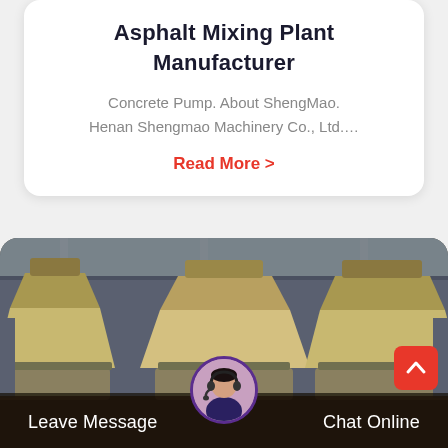Asphalt Mixing Plant Manufacturer
Concrete Pump. About ShengMao. Henan Shengmao Machinery Co., Ltd....
Read More >
[Figure (photo): Industrial machinery (crusher/mixing equipment) in a factory setting — large yellow-green conical machine parts on a production floor]
Leave Message
Chat Online